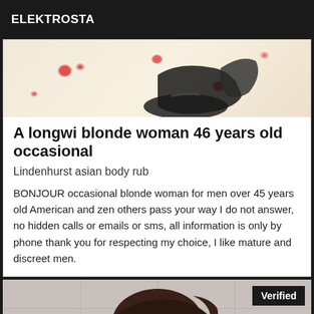ELEKTROSTA
[Figure (photo): Close-up photo of feet wearing dark high heels on a floral fabric background]
A longwi blonde woman 46 years old occasional
Lindenhurst asian body rub
BONJOUR occasional blonde woman for men over 45 years old American and zen others pass your way I do not answer, no hidden calls or emails or sms, all information is only by phone thank you for respecting my choice, I like mature and discreet men.
[Figure (photo): Photo of a person with dark brown hair, head tilted down, with a 'Verified' badge in the upper right corner]